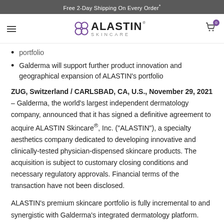Free 2-Day Shipping On Every Order*
[Figure (logo): ALASTIN SKINCARE logo with purple molecular/circle icon to the left of the text]
portfolio
Galderma will support further product innovation and geographical expansion of ALASTIN's portfolio
ZUG, Switzerland / CARLSBAD, CA, U.S., November 29, 2021 – Galderma, the world's largest independent dermatology company, announced that it has signed a definitive agreement to acquire ALASTIN Skincare®, Inc. ("ALASTIN"), a specialty aesthetics company dedicated to developing innovative and clinically-tested physician-dispensed skincare products. The acquisition is subject to customary closing conditions and necessary regulatory approvals. Financial terms of the transaction have not been disclosed.
ALASTIN's premium skincare portfolio is fully incremental to and synergistic with Galderma's integrated dermatology platform.